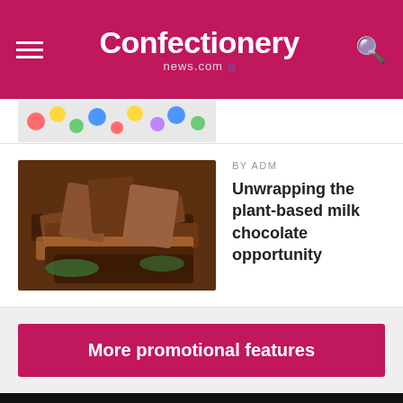Confectionery news.com
[Figure (photo): Partially visible colorful candy/sweets image at top]
BY ADM
Unwrapping the plant-based milk chocolate opportunity
[Figure (photo): Chocolate pieces and chocolate bars stacked image]
More promotional features
This website uses cookies. By continuing to browse our website, you are agreeing to our use of cookies. You can learn more about cookies by visiting our privacy & cookies policy page.
I Agree